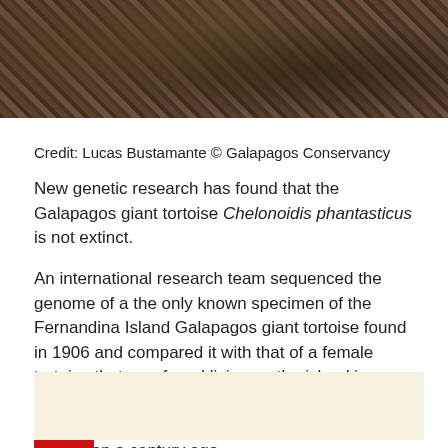[Figure (photo): Close-up photograph of rocky, dry terrain with dark twigs and debris, likely from Fernandina Island in the Galapagos]
Credit: Lucas Bustamante © Galapagos Conservancy
New genetic research has found that the Galapagos giant tortoise Chelonoidis phantasticus is not extinct.
An international research team sequenced the genome of a the only known specimen of the Fernandina Island Galapagos giant tortoise found in 1906 and compared it with that of a female tortoise that was found living on the island in 2019. Their analysis confirmed that the tortoise found alive is from species thought to be extinct more than a century ago.
[Figure (other): Beige/cream colored box at bottom of page, partially visible, with red accent bar at bottom left]